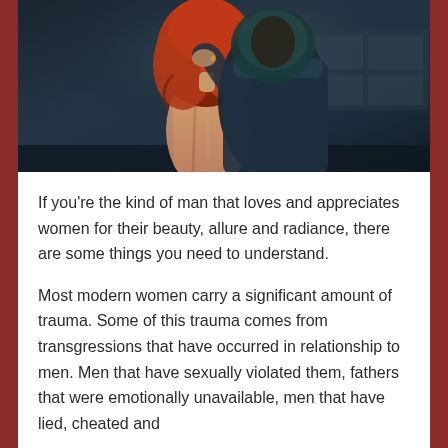[Figure (photo): A couple in an intimate pose outdoors at night or dusk. A woman with long red/auburn hair, wearing a backless black dress, leans back against a man in a dark hoodie/jacket. The background is dark and moody, suggesting an urban or industrial setting.]
If you're the kind of man that loves and appreciates women for their beauty, allure and radiance, there are some things you need to understand.
Most modern women carry a significant amount of trauma. Some of this trauma comes from transgressions that have occurred in relationship to men. Men that have sexually violated them, fathers that were emotionally unavailable, men that have lied, cheated and